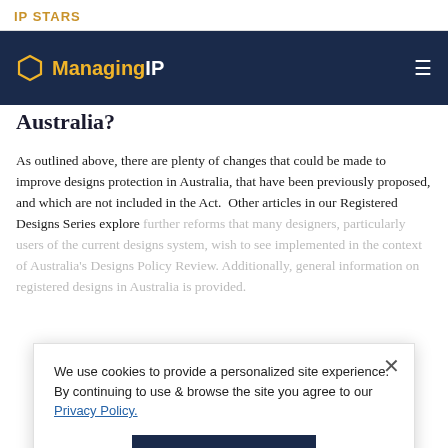IP STARS
Managing IP
Australia?
As outlined above, there are plenty of changes that could be made to improve designs protection in Australia, that have been previously proposed, and which are not included in the Act.  Other articles in our Registered Designs Series explore further reforms that many designers, particularly users of the current designs system, wish to see implemented in the context of Australia's Designs Policy Review. Additionally, general information on registered designs in Australia is provided.
We use cookies to provide a personalized site experience. By continuing to use & browse the site you agree to our Privacy Policy.